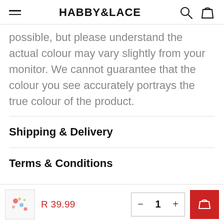HABBY&LACE
possible, but please understand the actual colour may vary slightly from your monitor. We cannot guarantee that the colour you see accurately portrays the true colour of the product.
Shipping & Delivery
Terms & Conditions
R 39.99
1